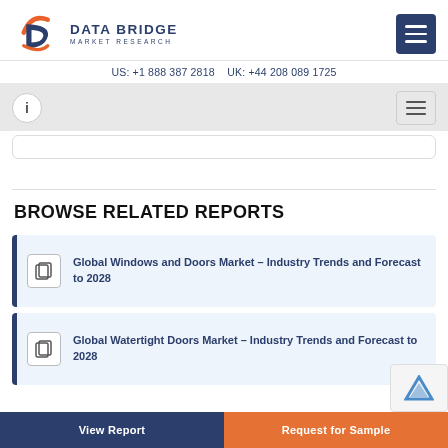DATA BRIDGE MARKET RESEARCH — US: +1 888 387 2818 UK: +44 208 089 1725
BROWSE RELATED REPORTS
Global Windows and Doors Market – Industry Trends and Forecast to 2028
Global Watertight Doors Market – Industry Trends and Forecast to 2028